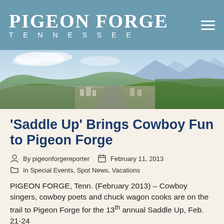PIGEON FORGE TENNESSEE
[Figure (photo): Aerial panoramic view of Pigeon Forge, Tennessee, showing the main road through town with mountains and green hills in the background under a partly cloudy sky.]
‘Saddle Up’ Brings Cowboy Fun to Pigeon Forge
By pigeonforgereporter   February 11, 2013
In Special Events, Spot News, Vacations
PIGEON FORGE, Tenn. (February 2013) – Cowboy singers, cowboy poets and chuck wagon cooks are on the trail to Pigeon Forge for the 13th annual Saddle Up, Feb. 21-24